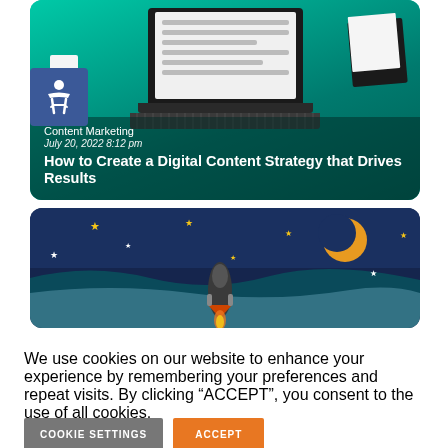[Figure (illustration): Article card with laptop illustration on green background showing a content marketing article]
Content Marketing
July 20, 2022 8:12 pm
How to Create a Digital Content Strategy that Drives Results
[Figure (illustration): Article card with night sky illustration showing stars, moon, and rocket]
We use cookies on our website to enhance your experience by remembering your preferences and repeat visits. By clicking “ACCEPT”, you consent to the use of all cookies.
COOKIE SETTINGS
ACCEPT